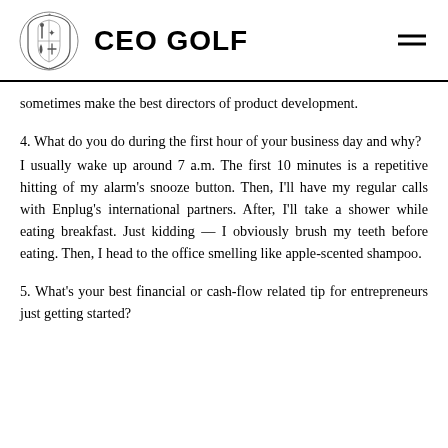CEO GOLF
sometimes make the best directors of product development.
4. What do you do during the first hour of your business day and why?
I usually wake up around 7 a.m. The first 10 minutes is a repetitive hitting of my alarm's snooze button. Then, I'll have my regular calls with Enplug's international partners. After, I'll take a shower while eating breakfast. Just kidding — I obviously brush my teeth before eating. Then, I head to the office smelling like apple-scented shampoo.
5. What's your best financial or cash-flow related tip for entrepreneurs just getting started?